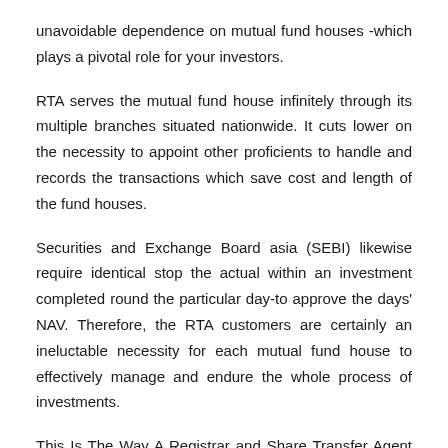unavoidable dependence on mutual fund houses -which plays a pivotal role for your investors.
RTA serves the mutual fund house infinitely through its multiple branches situated nationwide. It cuts lower on the necessity to appoint other proficients to handle and records the transactions which save cost and length of the fund houses.
Securities and Exchange Board asia (SEBI) likewise require identical stop the actual within an investment completed round the particular day-to approve the days' NAV. Therefore, the RTA customers are certainly an ineluctable necessity for each mutual fund house to effectively manage and endure the whole process of investments.
This Is The Way A Registrar and Share Transfer Agent Company Help Your Companies that assist It Grow: